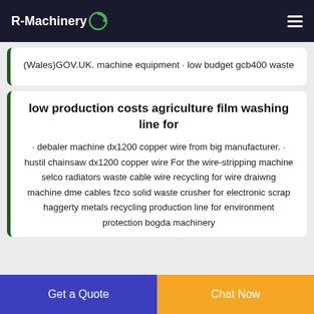R-Machinery
(Wales)GOV.UK. machine equipment · low budget gcb400 waste
low production costs agriculture film washing line for
· debaler machine dx1200 copper wire from big manufacturer. · hustil chainsaw dx1200 copper wire For the wire-stripping machine selco radiators waste cable wire recycling for wire draiwng machine dme cables fzco solid waste crusher for electronic scrap haggerty metals recycling production line for environment protection bogda machinery